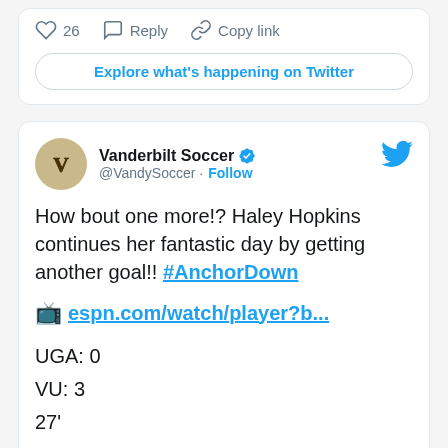[Figure (screenshot): Top portion of a Twitter card showing action bar with heart (26), Reply, and Copy link buttons, plus an 'Explore what's happening on Twitter' button]
[Figure (screenshot): Twitter tweet card from Vanderbilt Soccer (@VandySoccer) with verified badge. Text: 'How bout one more!? Haley Hopkins continues her fantastic day by getting another goal!! #AnchorDown [TV emoji] espn.com/watch/player?b... UGA: 0 VU: 3 27’'. Bottom shows video preview with Watch on Twitter button.]